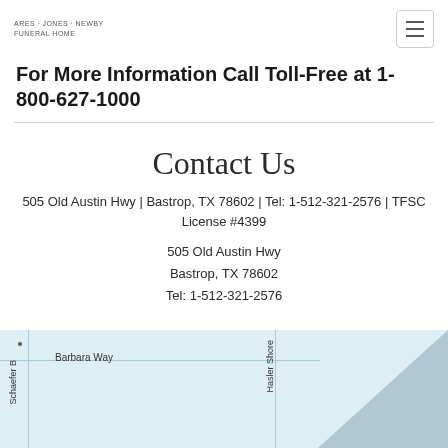ARES JONES NEWBY FUNERAL HOME
For More Information Call Toll-Free at 1-800-627-1000
Contact Us
505 Old Austin Hwy | Bastrop, TX 78602 | Tel: 1-512-321-2576 | TFSC License #4399
505 Old Austin Hwy
Bastrop, TX 78602
Tel: 1-512-321-2576
[Figure (map): Street map showing location near Barbara Way, Hasler Shore, and Schaefer B streets in Bastrop, TX area]